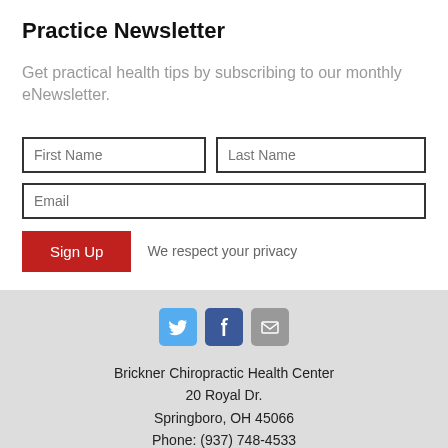Practice Newsletter
Get practical health tips by subscribing to our monthly eNewsletter.
[Figure (screenshot): Web form with First Name, Last Name, and Email input fields, a red Sign Up button, and privacy notice text.]
Brickner Chiropractic Health Center
20 Royal Dr.
Springboro, OH 45066
Phone: (937) 748-4533
Copyright | Legal | Privacy | Accessibility | Sitemap
Chiropractic Websites by Perfect Patients